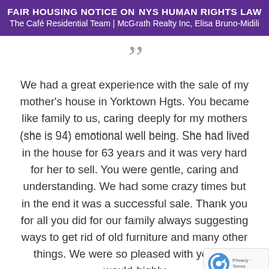FAIR HOUSING NOTICE ON NYS HUMAN RIGHTS LAW
The Café Residential Team | McGrath Realty Inc, Elisa Bruno-Midili
We had a great experience with the sale of my mother's house in Yorktown Hgts. You became like family to us, caring deeply for my mothers (she is 94) emotional well being. She had lived in the house for 63 years and it was very hard for her to sell. You were gentle, caring and understanding. We had some crazy times but in the end it was a successful sale. Thank you for all you did for our family always suggesting ways to get rid of old furniture and many other things. We were so pleased with you and would highly